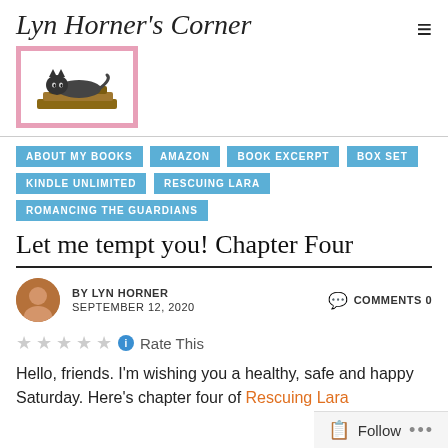Lyn Horner's Corner
[Figure (photo): Blog logo with cat lying on books, pink border background]
ABOUT MY BOOKS
AMAZON
BOOK EXCERPT
BOX SET
KINDLE UNLIMITED
RESCUING LARA
ROMANCING THE GUARDIANS
Let me tempt you! Chapter Four
BY LYN HORNER   SEPTEMBER 12, 2020   COMMENTS 0
Rate This
Hello, friends. I'm wishing you a healthy, safe and happy Saturday. Here's chapter four of Rescuing Lara